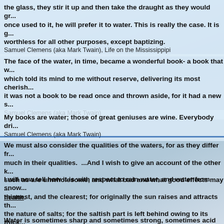the glass, they stir it up and then take the draught as they would gr... once used to it, he will prefer it to water. This is really the case. It is g... worthless for all other purposes, except baptizing.
Samuel Clemens (aka Mark Twain), Life on the Mississippipi
The face of the water, in time, became a wonderful book- a book that w... which told its mind to me without reserve, delivering its most cherish... it was not a book to be read once and thrown aside, for it had a new s...
Samuel Clemens (aka Mark Twain)
My books are water; those of great geniuses are wine. Everybody dri...
Samuel Clemens (aka Mark Twain)
We must also consider the qualities of the waters, for as they differ fr... much in their qualities.  ...And I wish to give an account of the other k... such as are unwholesome, and what bad and what good effects may ... health.
I will now tell how it is with respect to rain-water, and water from snow... thinnest, and the clearest; for originally the sun raises and attracts th... the nature of salts; for the saltish part is left behind owing to its thick... thinnest part, owing to its lightness, and he abstracts this not only fro... which contain humidity, and there is humidity in everything; and from... part of the juices.
Hippocrates, On Airs, Waters, and Places (400 B.C.E
Water is sometimes sharp and sometimes strong, sometimes acid an...